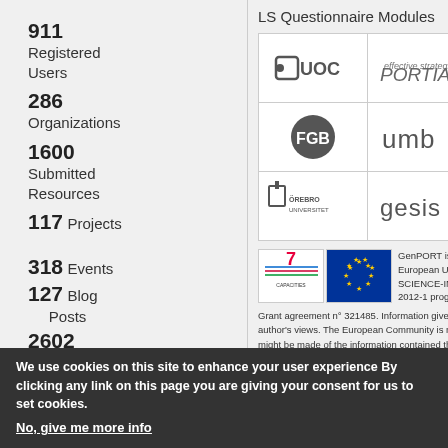911 Registered Users
286 Organizations
1600 Submitted Resources
117 Projects
318 Events
127 Blog Posts
2602 Comments
20 User Groups
LS Questionnaire Modules
[Figure (logo): Grid of 6 partner logos: UOC, PORTIA, FGB, umb, Örebro Universitet, gesis]
[Figure (logo): EU FP7 Capacities and European Union flag logos]
GenPORT is funded by the European Union FP7-SCIENCE-IN-SOCIETY-2012-1 programm.
Grant agreement n° 321485. Information given on this site reflects only the author's views. The European Community is not liable for any use that might be made of the information contained therein.
We use cookies on this site to enhance your user experience By clicking any link on this page you are giving your consent for us to set cookies. No, give me more info